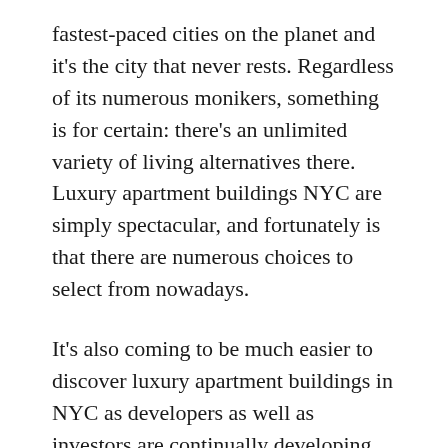fastest-paced cities on the planet and it's the city that never rests. Regardless of its numerous monikers, something is for certain: there's an unlimited variety of living alternatives there. Luxury apartment buildings NYC are simply spectacular, and fortunately is that there are numerous choices to select from nowadays.
It's also coming to be much easier to discover luxury apartment buildings in NYC as developers as well as investors are continually developing new modern centers throughout all the city's boroughs.
Whether you've been daydreaming regarding residing in one of the luxury rental buildings in NYC or you're fortunate enough to pay for to rent out a luxury NYC